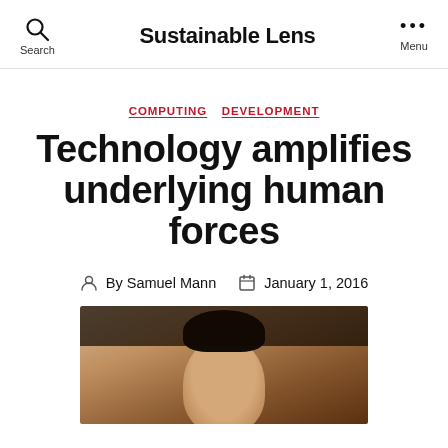Sustainable Lens
COMPUTING  DEVELOPMENT
Technology amplifies underlying human forces
By Samuel Mann  January 1, 2016
[Figure (photo): Partial photo of a person's head/face, cropped at the bottom of the page]